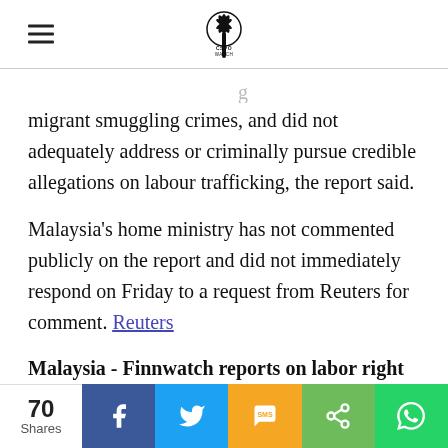CSPO WATCH
migrant smuggling crimes, and did not adequately address or criminally pursue credible allegations on labour trafficking, the report said.
Malaysia's home ministry has not commented publicly on the report and did not immediately respond on Friday to a request from Reuters for comment. Reuters
Malaysia - Finnwatch reports on labor right
70 Shares  Facebook  Twitter  SMS  Share  WhatsApp